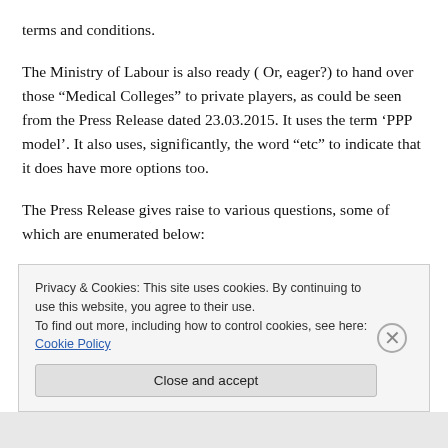terms and conditions.
The Ministry of Labour is also ready ( Or, eager?) to hand over those “Medical Colleges” to private players, as could be seen from the Press Release dated 23.03.2015. It uses the term ‘PPP model’. It also uses, significantly, the word “etc” to indicate that it does have more options too.
The Press Release gives raise to various questions, some of which are enumerated below:
1. Where is the provision in Sec. 59-B to empower the
Privacy & Cookies: This site uses cookies. By continuing to use this website, you agree to their use.
To find out more, including how to control cookies, see here: Cookie Policy